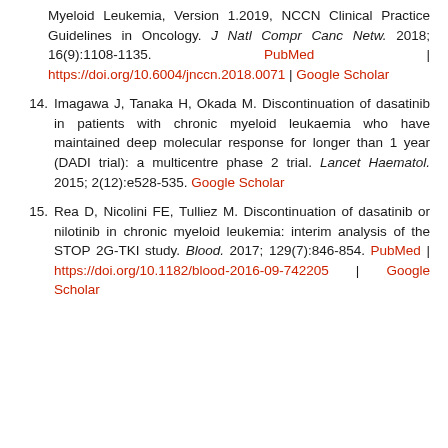Myeloid Leukemia, Version 1.2019, NCCN Clinical Practice Guidelines in Oncology. J Natl Compr Canc Netw. 2018; 16(9):1108-1135. PubMed | https://doi.org/10.6004/jnccn.2018.0071 | Google Scholar
14. Imagawa J, Tanaka H, Okada M. Discontinuation of dasatinib in patients with chronic myeloid leukaemia who have maintained deep molecular response for longer than 1 year (DADI trial): a multicentre phase 2 trial. Lancet Haematol. 2015; 2(12):e528-535. Google Scholar
15. Rea D, Nicolini FE, Tulliez M. Discontinuation of dasatinib or nilotinib in chronic myeloid leukemia: interim analysis of the STOP 2G-TKI study. Blood. 2017; 129(7):846-854. PubMed | https://doi.org/10.1182/blood-2016-09-742205 | Google Scholar